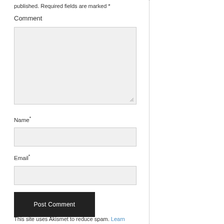published. Required fields are marked *
Comment
[Figure (other): Comment textarea input field, large, light gray background with resize handle]
Name*
[Figure (other): Name text input field, light gray background]
Email*
[Figure (other): Email text input field, light gray background]
[Figure (other): Post Comment button, dark/black background, white text]
This site uses Akismet to reduce spam. Learn